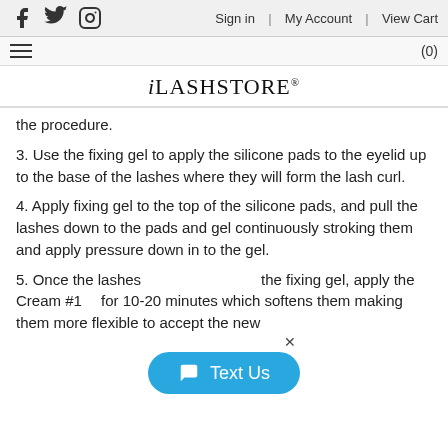Sign in | My Account | View Cart
[Figure (logo): iLASHSTORE logo with italic i and registered trademark symbol]
the procedure.
3. Use the fixing gel to apply the silicone pads to the eyelid up to the base of the lashes where they will form the lash curl.
4. Apply fixing gel to the top of the silicone pads, and pull the lashes down to the pads and gel continuously stroking them and apply pressure down in to the gel.
5. Once the lashes are in the fixing gel, apply the Cream #1 for 10-20 minutes which softens them making them more flexible to accept the new